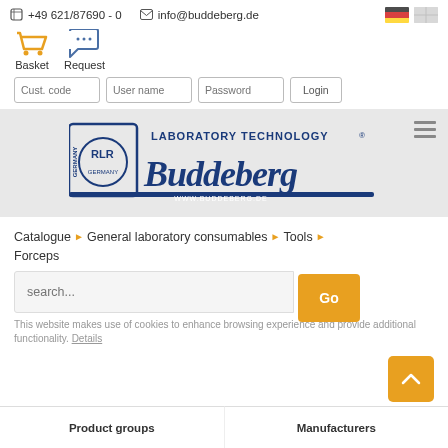+49 621/87690 - 0   info@buddeberg.de
[Figure (screenshot): Website header with Basket and Request icons, login form, Buddeberg Laboratory Technology logo, breadcrumb navigation, and search bar]
Basket   Request
Cust. code   User name   Password   Login
[Figure (logo): Buddeberg Laboratory Technology Germany logo in blue]
Catalogue › General laboratory consumables › Tools › Forceps
search...   Go
This website makes use of cookies to enhance browsing experience and provide additional functionality. Details
Product groups   Manufacturers